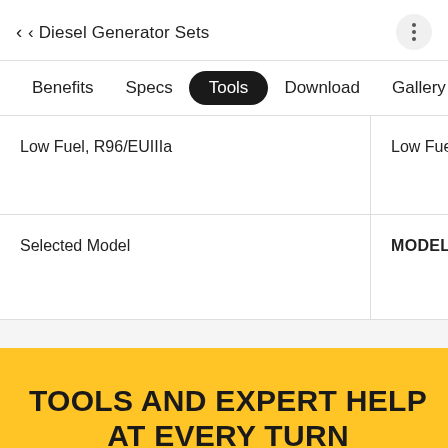< Diesel Generator Sets
Benefits
Specs
Tools (active/selected)
Download
Gallery
|  |  |
| --- | --- |
| Low Fuel, R96/EUIIIa | Low Fuel, Tier |
| Selected Model | MODEL DETAILS |
TOOLS AND EXPERT HELP AT EVERY TURN